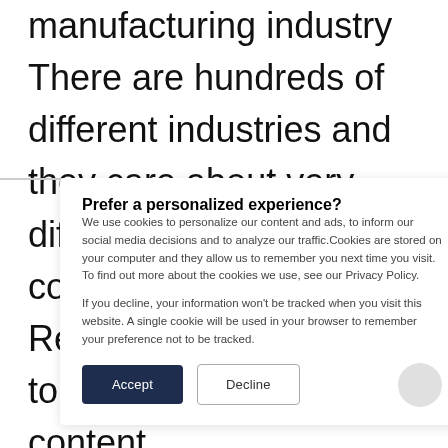manufacturing industry
There are hundreds of different industries and they care about very different things when it comes to your product. Read more about how to adjust the tone, content,
Prefer a personalized experience?
We use cookies to personalize our content and ads, to inform our social media decisions and to analyze our traffic.Cookies are stored on your computer and they allow us to remember you next time you visit. To find out more about the cookies we use, see our Privacy Policy.
If you decline, your information won't be tracked when you visit this website. A single cookie will be used in your browser to remember your preference not to be tracked.